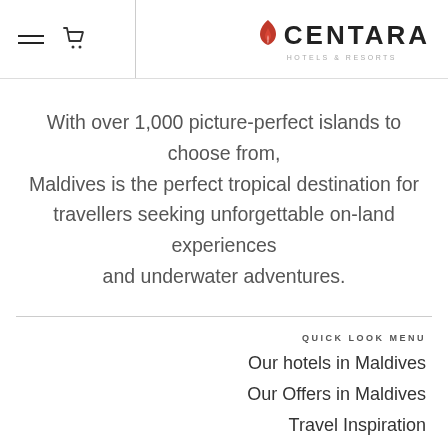Centara Hotels & Resorts
With over 1,000 picture-perfect islands to choose from, Maldives is the perfect tropical destination for travellers seeking unforgettable on-land experiences and underwater adventures.
QUICK LOOK MENU
Our hotels in Maldives
Our Offers in Maldives
Travel Inspiration
Maldives